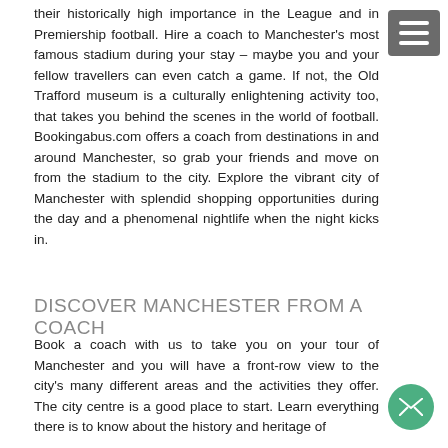their historically high importance in the League and in Premiership football. Hire a coach to Manchester's most famous stadium during your stay – maybe you and your fellow travellers can even catch a game. If not, the Old Trafford museum is a culturally enlightening activity too, that takes you behind the scenes in the world of football. Bookingabus.com offers a coach from destinations in and around Manchester, so grab your friends and move on from the stadium to the city. Explore the vibrant city of Manchester with splendid shopping opportunities during the day and a phenomenal nightlife when the night kicks in.
DISCOVER MANCHESTER FROM A COACH
Book a coach with us to take you on your tour of Manchester and you will have a front-row view to the city's many different areas and the activities they offer. The city centre is a good place to start. Learn everything there is to know about the history and heritage of